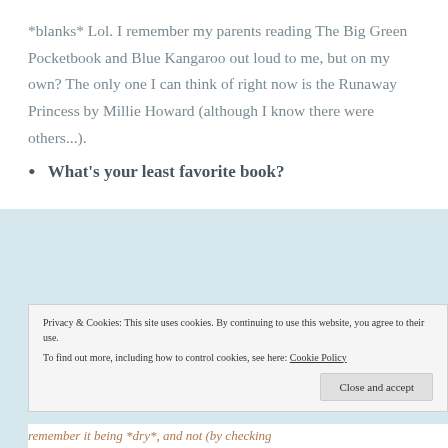*blanks* Lol. I remember my parents reading The Big Green Pocketbook and Blue Kangaroo out loud to me, but on my own? The only one I can think of right now is the Runaway Princess by Millie Howard (although I know there were others...).
What's your least favorite book?
Privacy & Cookies: This site uses cookies. By continuing to use this website, you agree to their use.
To find out more, including how to control cookies, see here: Cookie Policy
remember it being *dry*, and not (by checking